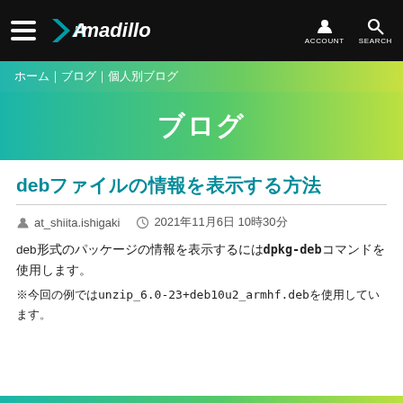Armadillo — ACCOUNT SEARCH
ホーム | ブログ | 個人別ブログ
ブログ
debファイルの情報を表示する方法
at_shiita.ishigaki　2021年11月6日 10時30分
deb形式のパッケージの情報を表示するにはdpkg-debコマンドを使用します。※今回の例ではunzip_6.0-23+deb10u2_armhf.debを使用しています。